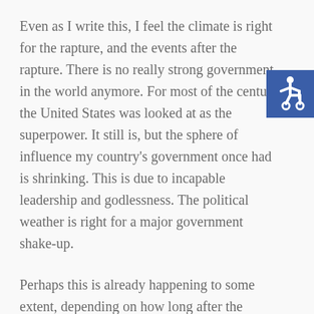Even as I write this, I feel the climate is right for the rapture, and the events after the rapture. There is no really strong government in the world anymore. For most of the century the United States was looked at as the superpower. It still is, but the sphere of influence my country's government once had is shrinking. This is due to incapable leadership and godlessness. The political weather is right for a major government shake-up.
[Figure (illustration): Accessibility icon — white wheelchair symbol on blue square background, positioned at top right corner]
Perhaps this is already happening to some extent, depending on how long after the disappearances you read this, but the entire world is about to be united under one government. And you need to be on the lookout for a dynamic new leader who the